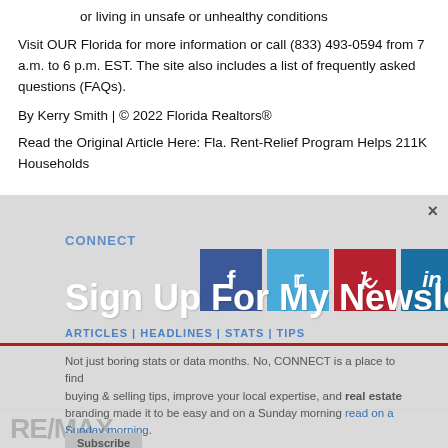or living in unsafe or unhealthy conditions
Visit OUR Florida for more information or call (833) 493-0594 from 7 a.m. to 6 p.m. EST. The site also includes a list of frequently asked questions (FAQs).
By Kerry Smith | © 2022 Florida Realtors®
Read the Original Article Here: Fla. Rent-Relief Program Helps 211K Households
[Figure (infographic): Newsletter signup overlay with social media icons (Facebook, Twitter, Pinterest, LinkedIn), 'Sign Up For My Newsletter' text, articles/headlines/stats/tips navigation, and descriptive text about CONNECT newsletter.]